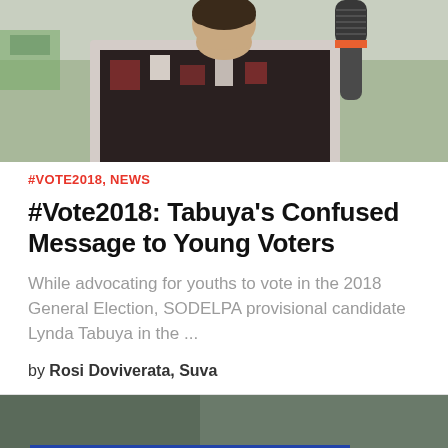[Figure (photo): Woman in patterned dress speaking into a microphone outdoors]
#VOTE2018, NEWS
#Vote2018: Tabuya's Confused Message to Young Voters
While advocating for youths to vote in the 2018 General Election, SODELPA provisional candidate Lynda Tabuya in the ...
by Rosi Doviverata, Suva
[Figure (photo): Close-up of an Elections banner/sign at a polling station]